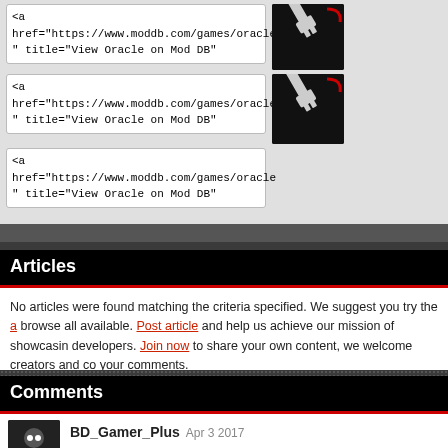<a
href="https://www.moddb.com/games/oracle
" title="View Oracle on Mod DB"
<a
href="https://www.moddb.com/games/oracle
" title="View Oracle on Mod DB"
<a
href="https://www.moddb.com/games/oracle
" title="View Oracle on Mod DB"
Articles
No articles were found matching the criteria specified. We suggest you try the a browse all available. Post article and help us achieve our mission of showcasing developers. Join now to share your own content, we welcome creators and con your comments.
Comments
BD_Gamer_Plus Apr 3 2017